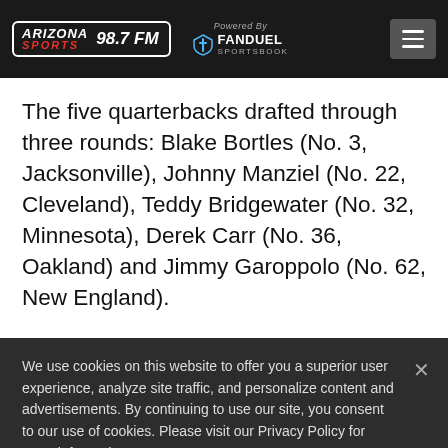ARIZONA SPORTS 98.7 FM | Powered By FANDUEL SPORTSBOOK
The five quarterbacks drafted through three rounds: Blake Bortles (No. 3, Jacksonville), Johnny Manziel (No. 22, Cleveland), Teddy Bridgewater (No. 32, Minnesota), Derek Carr (No. 36, Oakland) and Jimmy Garoppolo (No. 62, New England).
We use cookies on this website to offer you a superior user experience, analyze site traffic, and personalize content and advertisements. By continuing to use this site, you consent to our use of cookies. Please visit our Privacy Policy for more information.
Accept Cookies